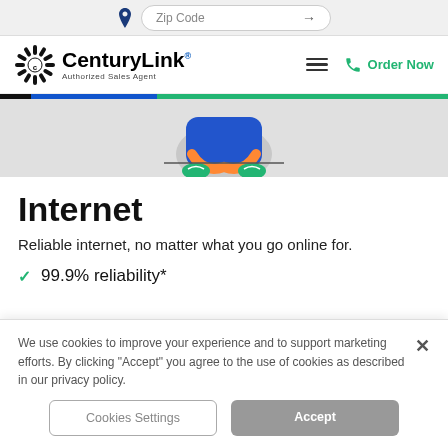Zip Code
[Figure (logo): CenturyLink Authorized Sales Agent logo with sunburst icon]
Internet
Reliable internet, no matter what you go online for.
99.9% reliability*
We use cookies to improve your experience and to support marketing efforts. By clicking "Accept" you agree to the use of cookies as described in our privacy policy.